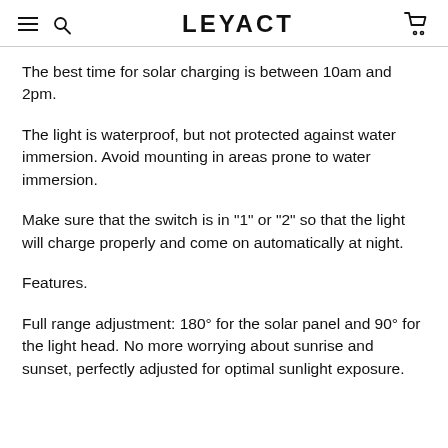LEYACT
The best time for solar charging is between 10am and 2pm.
The light is waterproof, but not protected against water immersion. Avoid mounting in areas prone to water immersion.
Make sure that the switch is in "1" or "2" so that the light will charge properly and come on automatically at night.
Features.
Full range adjustment: 180° for the solar panel and 90° for the light head. No more worrying about sunrise and sunset, perfectly adjusted for optimal sunlight exposure.